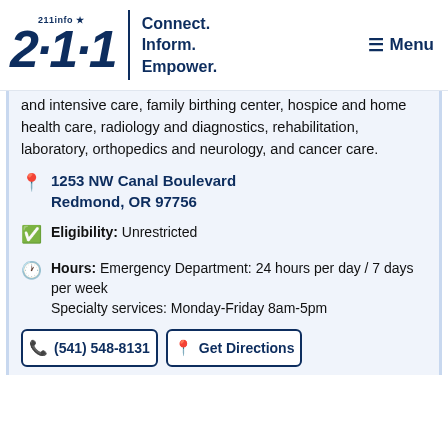[Figure (logo): 211info logo with tagline Connect. Inform. Empower.]
and intensive care, family birthing center, hospice and home health care, radiology and diagnostics, rehabilitation, laboratory, orthopedics and neurology, and cancer care.
1253 NW Canal Boulevard Redmond, OR 97756
Eligibility: Unrestricted
Hours: Emergency Department: 24 hours per day / 7 days per week Specialty services: Monday-Friday 8am-5pm
(541) 548-8131
Get Directions